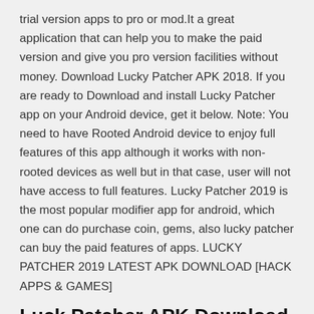trial version apps to pro or mod.It a great application that can help you to make the paid version and give you pro version facilities without money. Download Lucky Patcher APK 2018. If you are ready to Download and install Lucky Patcher app on your Android device, get it below. Note: You need to have Rooted Android device to enjoy full features of this app although it works with non-rooted devices as well but in that case, user will not have access to full features. Lucky Patcher 2019 is the most popular modifier app for android, which one can do purchase coin, gems, also lucky patcher can buy the paid features of apps. LUCKY PATCHER 2019 LATEST APK DOWNLOAD [HACK APPS & GAMES]
Luck Patcher APK Download for Android. Download lucky patcher apk